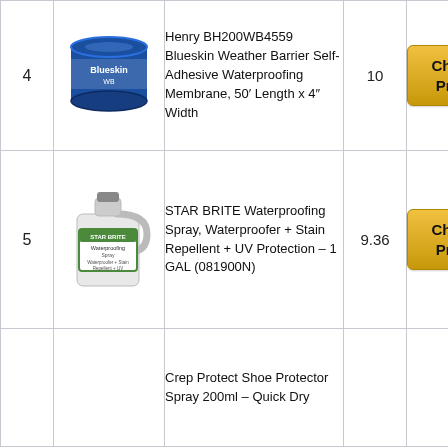| # | Image | Product Name | Score | Price |
| --- | --- | --- | --- | --- |
| 4 | [image] | Henry BH200WB4559 Blueskin Weather Barrier Self-Adhesive Waterproofing Membrane, 50' Length x 4" Width | 10 | Check Price |
| 5 | [image] | STAR BRITE Waterproofing Spray, Waterproofer + Stain Repellent + UV Protection – 1 GAL (081900N) | 9.36 | Check Price |
|  |  | Crep Protect Shoe Protector Spray 200ml – Quick Dry |  |  |